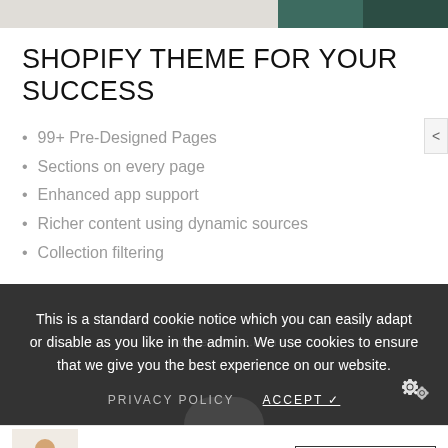[Figure (photo): Top strip with gray and dark teal/green image strip]
SHOPIFY THEME FOR YOUR SUCCESS
99+ Pre-Designed Pages
Sections on every page
Enhanced app support
Richer content using dynamic sources
Collection filtering
This is a standard cookie notice which you can easily adapt or disable as you like in the admin. We use cookies to ensure that we give you the best experience on our website.
PRIVACY POLICY   ACCEPT ✓
[Figure (photo): Product thumbnail showing a person in a plaid shirt and white pants]
$350.00
ADD TO CART